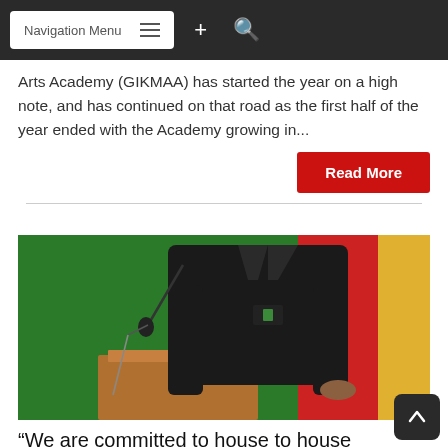Navigation Menu
Arts Academy (GIKMAA) has started the year on a high note, and has continued on that road as the first half of the year ended with the Academy growing in...
Read More
[Figure (photo): Person in black clothing standing at a wooden podium with a microphone, in front of a green, red, and gold flag backdrop]
“We are committed to house to house registration” – Pres.